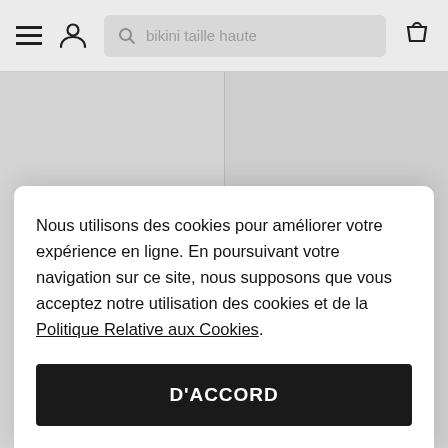bikini taille haute
[Figure (screenshot): E-commerce website product grid showing two product cells with light gray background, partially visible. Two circular wishlist/action buttons visible at bottom of cells.]
Nous utilisons des cookies pour améliorer votre expérience en ligne. En poursuivant votre navigation sur ce site, nous supposons que vous acceptez notre utilisation des cookies et de la Politique Relative aux Cookies.
D'ACCORD